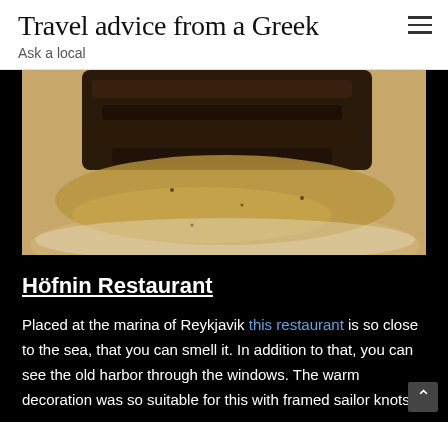Travel advice from a Greek
Ask a local
[Figure (photo): Close-up photo of a cooked meat dish on a plate, showing dark browned/seared surface with sauce, partially cropped at top]
Höfnin Restaurant
Placed at the marina of Reykjavik this restaurant is so close to the sea, that you can smell it. In addition to that, you can see the old harbor through the windows. The warm decoration was so suitable for this with framed sailor knots,